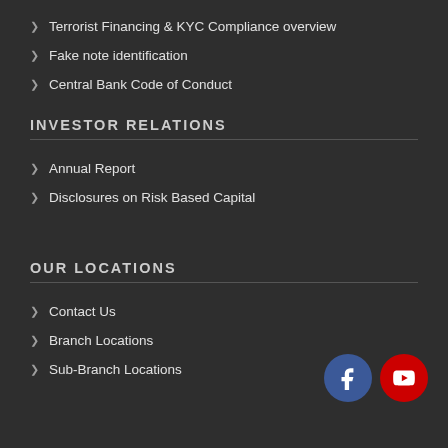Terrorist Financing & KYC Compliance overview
Fake note identification
Central Bank Code of Conduct
INVESTOR RELATIONS
Annual Report
Disclosures on Risk Based Capital
OUR LOCATIONS
Contact Us
Branch Locations
Sub-Branch Locations